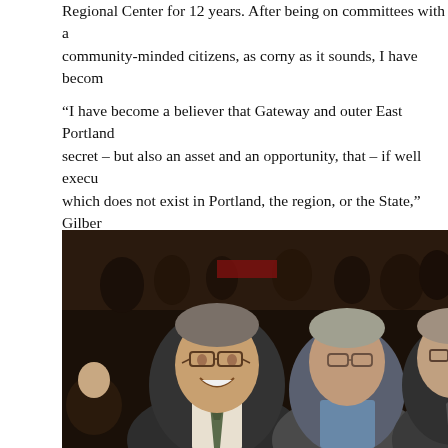Regional Center for 12 years. After being on committees with a community-minded citizens, as corny as it sounds, I have becom
“I have become a believer that Gateway and outer East Portland secret – but also an asset and an opportunity, that – if well execu which does not exist in Portland, the region, or the State,” Gilber Green is one of the projects key to the rebranding process that w
[Figure (photo): A photograph of three men in suits standing together at what appears to be an indoor event. The man in the foreground on the left is smiling broadly and wearing glasses, a dark suit, and a patterned tie. The two men behind and to the right are also wearing suits and glasses. The background shows a crowd of people in a dimly lit interior space.]